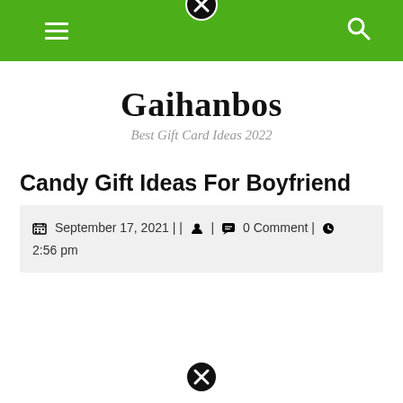Gaihanbos — navigation bar with hamburger menu and search icon
Gaihanbos
Best Gift Card Ideas 2022
Candy Gift Ideas For Boyfriend
September 17, 2021 | | 👤 | 💬 0 Comment | 🕑 2:56 pm